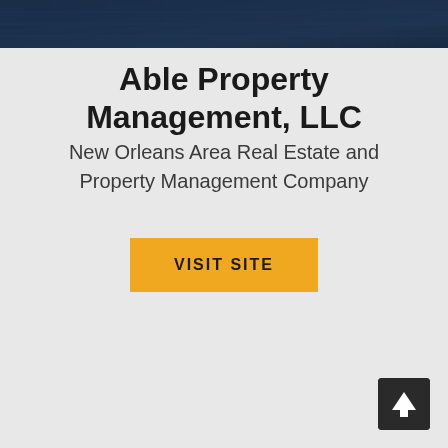[Figure (photo): Dark blue background hero image showing what appears to be a keyboard or tiled surface with a dark blue overlay]
Able Property Management, LLC
New Orleans Area Real Estate and Property Management Company
VISIT SITE